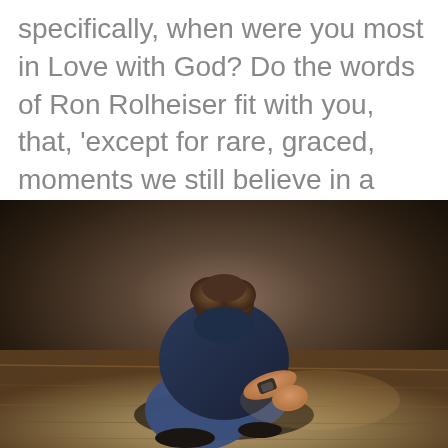specifically, when were you most in Love with God? Do the words of Ron Rolheiser fit with you, that, 'except for rare, graced, moments we still believe in a God who is hyper-serious, wired, intense, pained, disappointed in us,...
[Figure (photo): A man sitting on a wooden floor with his head bowed down, wearing a dark blue t-shirt and jeans with a black watch, appearing distressed or in prayer, shot from above against a dark background.]